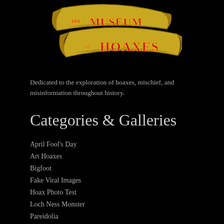[Figure (logo): The Museum of Hoaxes logo — two overlapping golden banner/ribbon shapes with stylized text reading 'THE MUSEUM of HOAXES' in red serif letters outlined in yellow/gold, on a black background.]
Dedicated to the exploration of hoaxes, mischief, and misinformation throughout history.
Categories & Galleries
April Fool's Day
Art Hoaxes
Bigfoot
Fake Viral Images
Hoax Photo Test
Loch Ness Monster
Pareidolia
Student Pranks